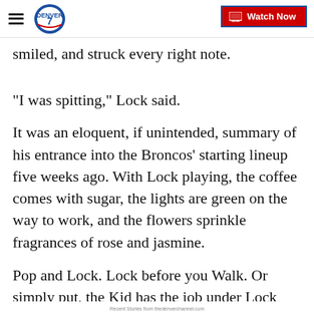Denver7 — Watch Now
smiled, and struck every right note.
"I was spitting," Lock said.
It was an eloquent, if unintended, summary of his entrance into the Broncos' starting lineup five weeks ago. With Lock playing, the coffee comes with sugar, the lights are green on the way to work, and the flowers sprinkle fragrances of rose and jasmine.
Pop and Lock. Lock before you Walk. Or simply put, the Kid has the job under Lock and Key.
Recent Stories from thedenverchannel.com